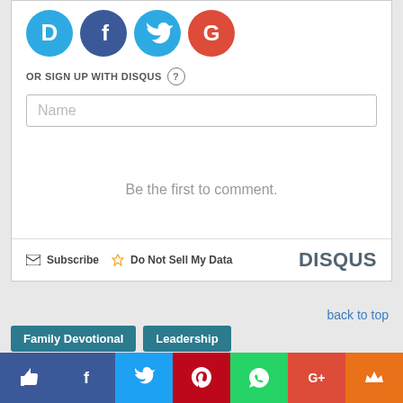[Figure (screenshot): Social login icons: Disqus (blue speech bubble with D), Facebook (dark blue circle with f), Twitter (light blue circle with bird), Google (red circle with G)]
OR SIGN UP WITH DISQUS ?
[Figure (screenshot): Name input field placeholder]
Be the first to comment.
Subscribe   Do Not Sell My Data   DISQUS
back to top
Family Devotional
Leadership
◀ Prev
Next ▶
[Figure (screenshot): Social share bar: thumbs up (blue), Facebook (blue), Twitter (light blue), Pinterest (red), WhatsApp (green), Google+ (orange-red), crown (orange)]